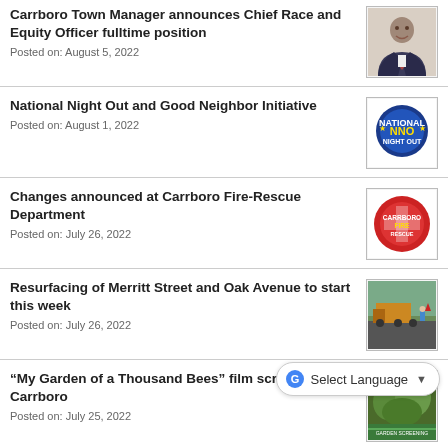Carrboro Town Manager announces Chief Race and Equity Officer fulltime position
Posted on: August 5, 2022
[Figure (photo): Portrait photo of a man in a suit]
National Night Out and Good Neighbor Initiative
Posted on: August 1, 2022
[Figure (logo): National Night Out (NNO) logo]
Changes announced at Carrboro Fire-Rescue Department
Posted on: July 26, 2022
[Figure (logo): Carrboro Fire-Rescue Department badge logo]
Resurfacing of Merritt Street and Oak Avenue to start this week
Posted on: July 26, 2022
[Figure (photo): Photo of road resurfacing equipment on a street]
“My Garden of a Thousand Bees” film screening in Carrboro
Posted on: July 25, 2022
[Figure (photo): Photo related to My Garden of a Thousand Bees film screening]
High Street Drainage Improvement
[Figure (photo): High Street Drainage project image]